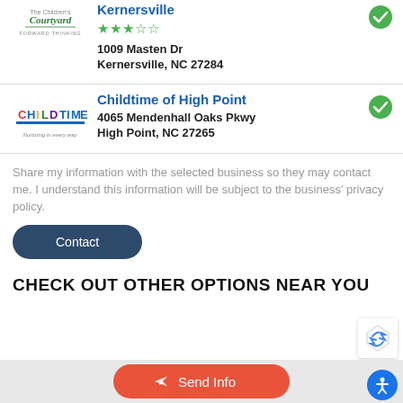[Figure (logo): The Children's Courtyard logo with 'FORWARD THINKING' tagline]
Kernersville
[Figure (other): Green checkmark circle icon]
★★★☆☆
1009 Masten Dr
Kernersville, NC 27284
[Figure (logo): Childtime Learning Centers logo with tagline 'Nurturing in every way.']
Childtime of High Point
[Figure (other): Green checkmark circle icon]
4065 Mendenhall Oaks Pkwy
High Point, NC 27265
Share my information with the selected business so they may contact me. I understand this information will be subject to the business' privacy policy.
Contact
CHECK OUT OTHER OPTIONS NEAR YOU
Send Info